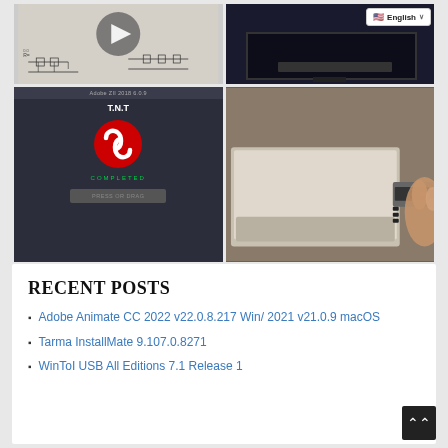[Figure (screenshot): Four-image grid: top-left engineering/schematic diagram with play button overlay; top-right monitor screen with English language selector dropdown; bottom-left Adobe Creative Cloud installer screen showing T.N.T with COMPLETED status; bottom-right photo of hand inserting USB drive into laptop]
RECENT POSTS
Adobe Animate CC 2022 v22.0.8.217 Win/ 2021 v21.0.9 macOS
Tarma InstallMate 9.107.0.8271
WinToI USB All Editions 7.1 Release 1